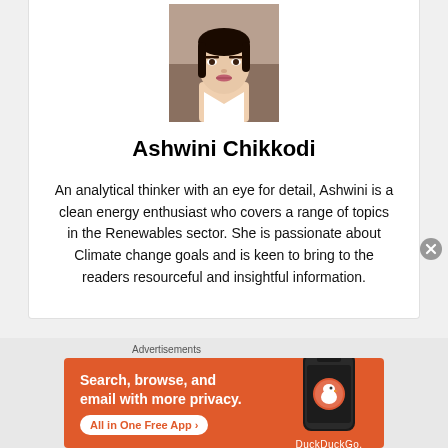[Figure (photo): Headshot portrait of Ashwini Chikkodi, a young woman with dark hair, wearing a white top, photographed indoors.]
Ashwini Chikkodi
An analytical thinker with an eye for detail, Ashwini is a clean energy enthusiast who covers a range of topics in the Renewables sector. She is passionate about Climate change goals and is keen to bring to the readers resourceful and insightful information.
Advertisements
[Figure (screenshot): DuckDuckGo advertisement banner with orange background. Text reads: Search, browse, and email with more privacy. All in One Free App. Shows a smartphone with DuckDuckGo logo.]